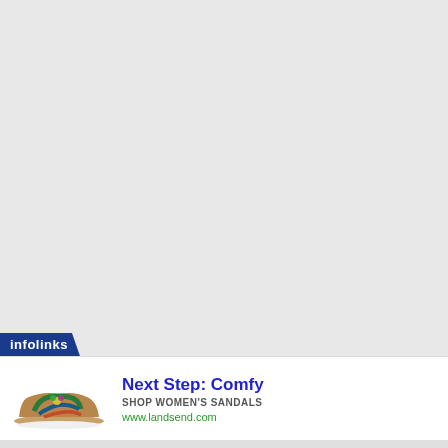[Figure (screenshot): Large light gray empty area representing a webpage background]
infolinks
[Figure (illustration): Advertisement banner for Lands End women's sandals showing a colorful sandal shoe. Headline: Next Step: Comfy. Subtext: SHOP WOMEN'S SANDALS. URL: www.landsend.com]